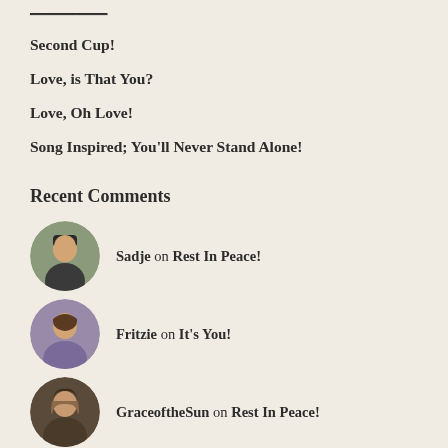Second Cup!
Love, is That You?
Love, Oh Love!
Song Inspired; You'll Never Stand Alone!
Recent Comments
Sadje on Rest In Peace!
Fritzie on It's You!
GraceoftheSun on Rest In Peace!